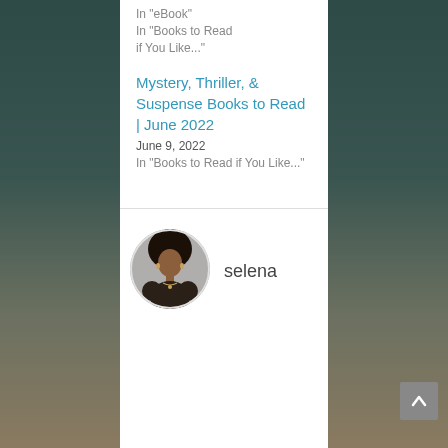In "eBook"
In "Books to Read if You Like..."
Mystery, Thriller, & Suspense Books to Read | June 2022
June 9, 2022
In "Books to Read if You Like..."
[Figure (photo): Circular portrait photo of a woman named selena with a large afro hairstyle, wearing a dark floral top, against a grey background]
selena